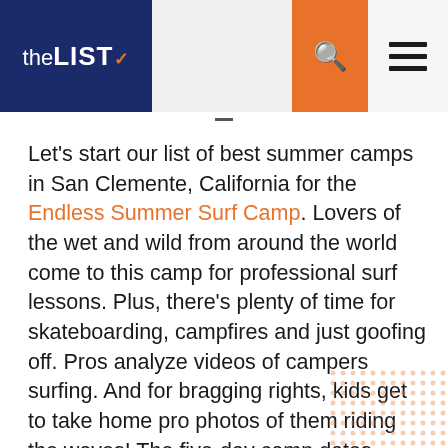theLIST
Let's start our list of best summer camps in San Clemente, California for the Endless Summer Surf Camp. Lovers of the wet and wild from around the world come to this camp for professional surf lessons. Plus, there's plenty of time for skateboarding, campfires and just goofing off. Pros analyze videos of campers surfing. And for bragging rights, kids get to take home pro photos of them riding the waves! The five-day camp dates begin June 3rd with prices starting at around $1100. Can we get a cowabunga, please?!